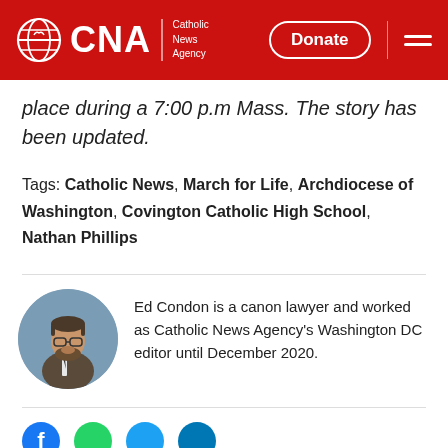CNA | Catholic News Agency — Donate
place during a 7:00 p.m Mass. The story has been updated.
Tags: Catholic News, March for Life, Archdiocese of Washington, Covington Catholic High School, Nathan Phillips
Ed Condon is a canon lawyer and worked as Catholic News Agency's Washington DC editor until December 2020.